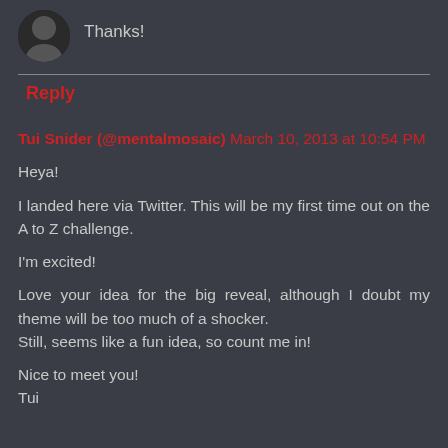Thanks!
Reply
Tui Snider (@mentalmosaic) March 10, 2013 at 10:54 PM
Heya!

I landed here via Twitter. This will be my first time out on the A to Z challenge.

I'm excited!

Love your idea for the big reveal, although I doubt my theme will be too much of a shocker.
Still, seems like a fun idea, so count me in!

Nice to meet you!
Tui